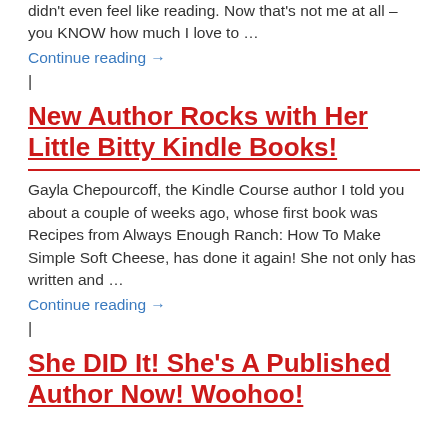didn't even feel like reading. Now that's not me at all – you KNOW how much I love to …
Continue reading →
|
New Author Rocks with Her Little Bitty Kindle Books!
Gayla Chepourcoff, the Kindle Course author I told you about a couple of weeks ago, whose first book was Recipes from Always Enough Ranch: How To Make Simple Soft Cheese, has done it again! She not only has written and …
Continue reading →
|
She DID It! She's A Published Author Now! Woohoo!